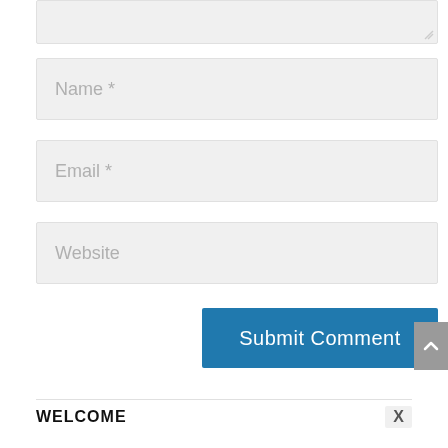[Figure (screenshot): Textarea input box (partially visible, top of page), grayed background with resize handle at bottom right]
Name *
Email *
Website
Submit Comment
WELCOME
X